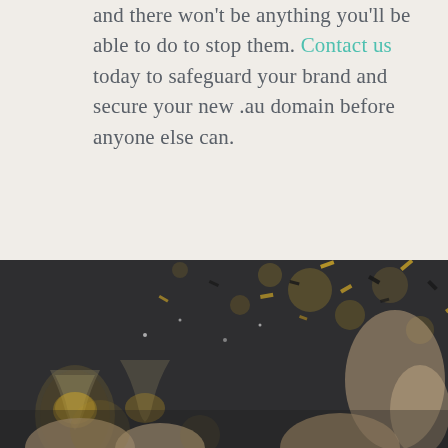and there won't be anything you'll be able to do to stop them. Contact us today to safeguard your brand and secure your new .au domain before anyone else can.
[Figure (photo): Celebration photo showing people clinking wine/champagne glasses with gold confetti and streamers falling in the background against a dark surface.]